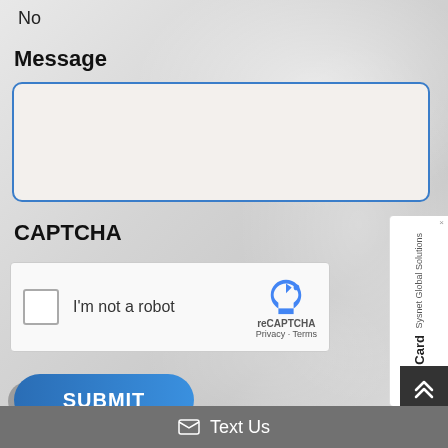No
Message
(message text area — empty)
CAPTCHA
[Figure (other): reCAPTCHA widget with checkbox 'I'm not a robot' and reCAPTCHA logo with Privacy and Terms links]
[Figure (other): Sysnet Global Solutions Assurance Card sidebar widget with orange arrow button]
SUBMIT
[Figure (other): Scroll-to-top button with double chevron up arrows]
✉ Text Us